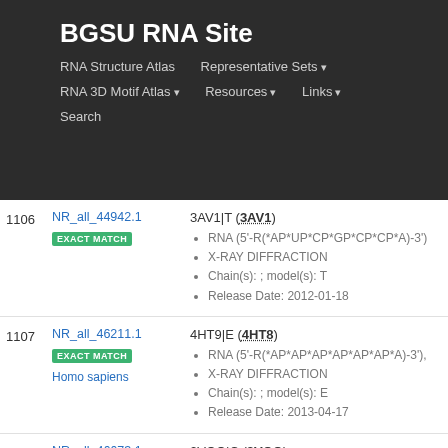BGSU RNA Site
RNA Structure Atlas | Representative Sets | RNA 3D Motif Atlas | Resources | Links | Search
| # | ID | Details |
| --- | --- | --- |
| 1106 | NR_all_44942.1 EXACT MATCH | 3AV1|T (3AV1)
• RNA (5'-R(*AP*UP*CP*GP*CP*CP*A)-3')
• X-RAY DIFFRACTION
• Chain(s): ; model(s): T
• Release Date: 2012-01-18 |
| 1107 | NR_all_46211.1 EXACT MATCH Homo sapiens | 4HT9|E (4HT8)
• RNA (5'-R(*AP*AP*AP*AP*AP*AP*A)-3'),
• X-RAY DIFFRACTION
• Chain(s): ; model(s): E
• Release Date: 2013-04-17 |
| 1108 | NR_all_46673.1 EXACT MATCH Homo sapiens | 2VOO|C (2VOO)
• 5'-R(*UP*UP*UP*UP*UP*UP*UP)-3'
• X-RAY DIFFRACTION |